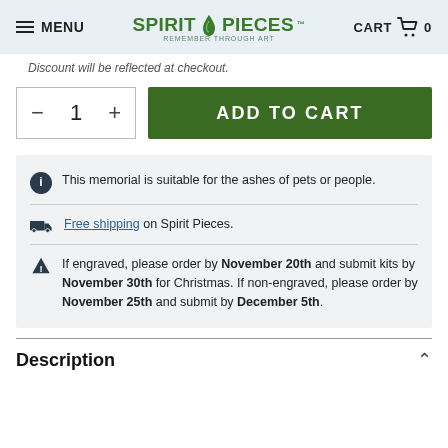MENU | SPIRIT PIECES REMEMBER THROUGH ART | CART 0
Discount will be reflected at checkout.
ADD TO CART (quantity: 1)
This memorial is suitable for the ashes of pets or people.
Free shipping on Spirit Pieces.
If engraved, please order by November 20th and submit kits by November 30th for Christmas. If non-engraved, please order by November 25th and submit by December 5th.
Description